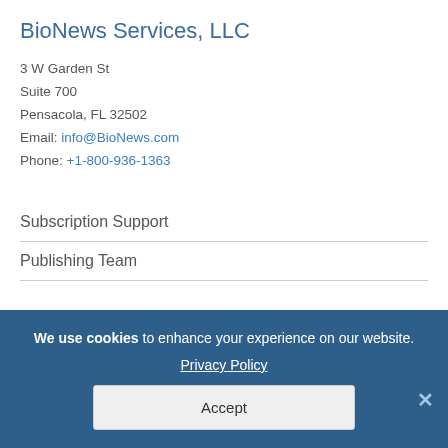BioNews Services, LLC
3 W Garden St
Suite 700
Pensacola, FL 32502
Email: info@BioNews.com
Phone: +1-800-936-1363
Subscription Support
Publishing Team
We use cookies to enhance your experience on our website.
Privacy Policy
Accept